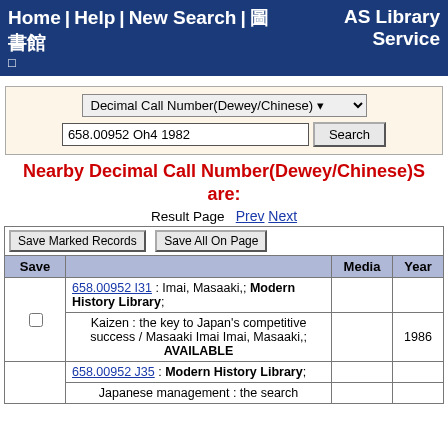Home | Help | New Search | [Japanese] | AS Library Service
| Decimal Call Number(Dewey/Chinese) ▼ | 658.00952 Oh4 1982 | Search |
Nearby Decimal Call Number(Dewey/Chinese)S are:
Result Page   Prev Next
| Save Marked Records | Save All On Page |  |  |
| --- | --- | --- |
| Save |  | Media | Year |
| 658.00952 I31 : Imai, Masaaki,; Modern History Library; |  |  |  |
| Kaizen : the key to Japan's competitive success / Masaaki Imai Imai, Masaaki,; AVAILABLE |  |  | 1986 |
| 658.00952 J35 : Modern History Library; |  |  |  |
| Japanese management : the search |  |  |  |